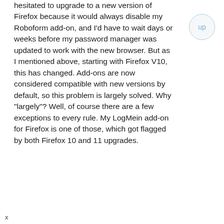hesitated to upgrade to a new version of Firefox because it would always disable my Roboform add-on, and I'd have to wait days or weeks before my password manager was updated to work with the new browser. But as I mentioned above, starting with Firefox V10, this has changed. Add-ons are now considered compatible with new versions by default, so this problem is largely solved. Why "largely"? Well, of course there are a few exceptions to every rule. My LogMein add-on for Firefox is one of those, which got flagged by both Firefox 10 and 11 upgrades.
x